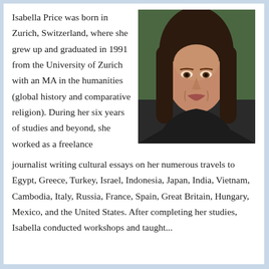Isabella Price was born in Zurich, Switzerland, where she grew up and graduated in 1991 from the University of Zurich with an MA in the humanities (global history and comparative religion). During her six years of studies and beyond, she worked as a freelance journalist writing cultural essays on her numerous travels to Egypt, Greece, Turkey, Israel, Indonesia, Japan, India, Vietnam, Cambodia, Italy, Russia, France, Spain, Great Britain, Hungary, Mexico, and the United States. After completing her studies, Isabella conducted workshops and taught...
[Figure (photo): Portrait photo of Isabella Price, a woman with long dark hair, looking at the camera with a slight smile, photographed outdoors with greenery in the background.]